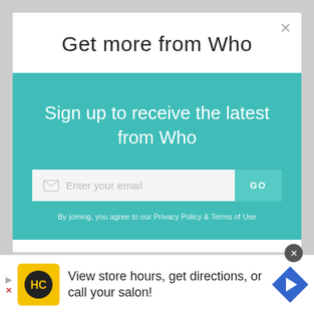Get more from Who
Sign up to receive the latest from Who
Enter your email
GO
By joining, you agree to our Privacy Policy & Terms of Use
View store hours, get directions, or call your salon!